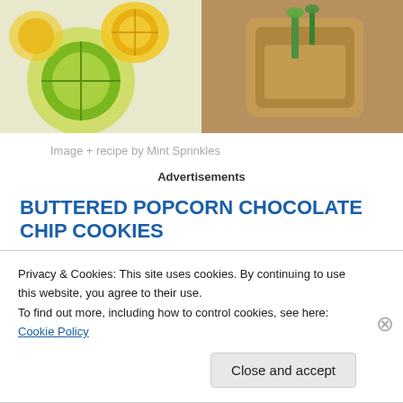[Figure (photo): Two-panel food photo: left panel shows sliced lemons and limes on a light surface; right panel shows a drink in a glass with a green herb garnish]
Image + recipe by Mint Sprinkles
Advertisements
BUTTERED POPCORN CHOCOLATE CHIP COOKIES
The ultimate dessert indulgence. Why just make plain old
Privacy & Cookies: This site uses cookies. By continuing to use this website, you agree to their use.
To find out more, including how to control cookies, see here: Cookie Policy